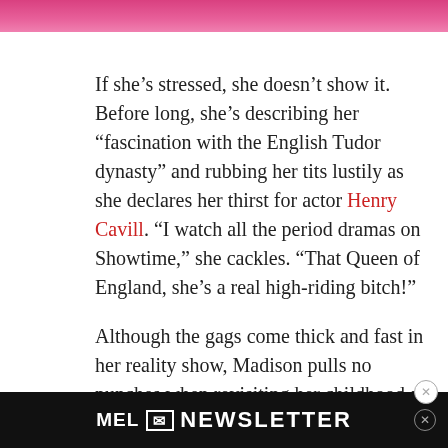[Figure (photo): Partial view of a person wearing pink, cropped at the top of the page]
If she’s stressed, she doesn’t show it. Before long, she’s describing her “fascination with the English Tudor dynasty” and rubbing her tits lustily as she declares her thirst for actor Henry Cavill. “I watch all the period dramas on Showtime,” she cackles. “That Queen of England, she’s a real high-riding bitch!”
Although the gags come thick and fast in her reality show, Madison pulls no punches when revisiting her childhood as a Black trans woman raised in Miami (“Baby, it wasn’t easy,” she says in the show’s opening monologue). There’s a
[Figure (screenshot): MEL Newsletter advertisement bar at the bottom of the page with envelope icon and the text MEL NEWSLETTER]
par... e,